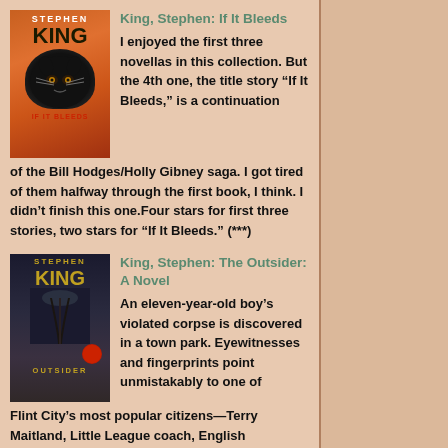[Figure (illustration): Book cover of 'If It Bleeds' by Stephen King, showing a black cat face on an orange-red background with the title 'IF IT BLEEDS' at the bottom.]
King, Stephen: If It Bleeds
I enjoyed the first three novellas in this collection. But the 4th one, the title story “If It Bleeds,” is a continuation of the Bill Hodges/Holly Gibney saga. I got tired of them halfway through the first book, I think. I didn’t finish this one.Four stars for first three stories, two stars for “If It Bleeds.” (***)
[Figure (illustration): Book cover of 'The Outsider: A Novel' by Stephen King, showing a dark atmospheric scene with a figure and golden King title text on dark background, with 'OUTSIDER' text at the bottom.]
King, Stephen: The Outsider: A Novel
An eleven-year-old boy’s violated corpse is discovered in a town park. Eyewitnesses and fingerprints point unmistakably to one of Flint City’s most popular citizens—Terry Maitland, Little League coach, English